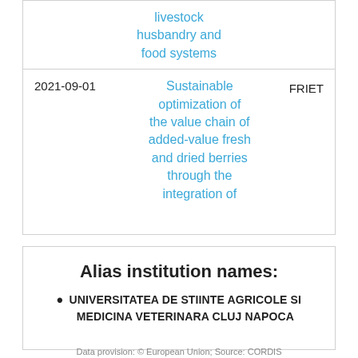livestock husbandry and food systems
| Date | Title | Code |
| --- | --- | --- |
| 2021-09-01 | Sustainable optimization of the value chain of added-value fresh and dried berries through the integration of... | FRIE... |
Alias institution names:
UNIVERSITATEA DE STIINTE AGRICOLE SI MEDICINA VETERINARA CLUJ NAPOCA
Data provision: © European Union; Source: CORDIS